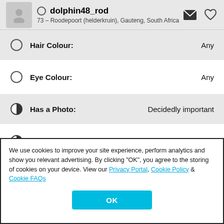dolphin48_rod – 73 – Roodepoort (helderkruin), Gauteng, South Africa
Hair Colour: Any
Eye Colour: Any
Has a Photo: Decidedly important
Ethnicity: White/Caucasian
Home Language: English
We use cookies to improve your site experience, perform analytics and show you relevant advertising. By clicking "OK", you agree to the storing of cookies on your device. View our Privacy Portal, Cookie Policy & Cookie FAQs